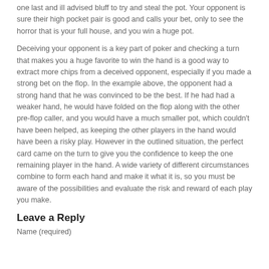one last and ill advised bluff to try and steal the pot. Your opponent is sure their high pocket pair is good and calls your bet, only to see the horror that is your full house, and you win a huge pot.
Deceiving your opponent is a key part of poker and checking a turn that makes you a huge favorite to win the hand is a good way to extract more chips from a deceived opponent, especially if you made a strong bet on the flop. In the example above, the opponent had a strong hand that he was convinced to be the best. If he had had a weaker hand, he would have folded on the flop along with the other pre-flop caller, and you would have a much smaller pot, which couldn’t have been helped, as keeping the other players in the hand would have been a risky play. However in the outlined situation, the perfect card came on the turn to give you the confidence to keep the one remaining player in the hand. A wide variety of different circumstances combine to form each hand and make it what it is, so you must be aware of the possibilities and evaluate the risk and reward of each play you make.
Leave a Reply
Name (required)